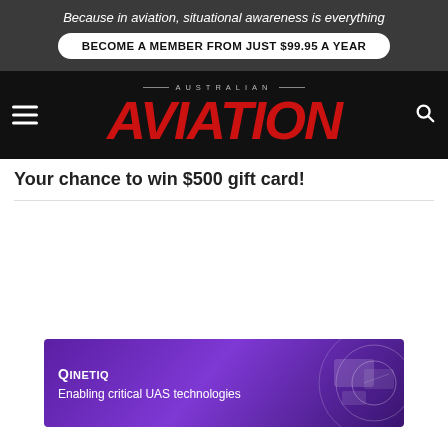Because in aviation, situational awareness is everything
BECOME A MEMBER FROM JUST $99.95 A YEAR
[Figure (logo): Australian Aviation magazine logo — 'AUSTRALIAN' in small caps above large red bold italic 'AVIATION' text on black background]
Your chance to win $500 gift card!
[Figure (other): QinetiQ advertisement banner — purple gradient background with text 'QinetiQ – Enabling critical UAS technologies' and aerial drone imagery on right side]